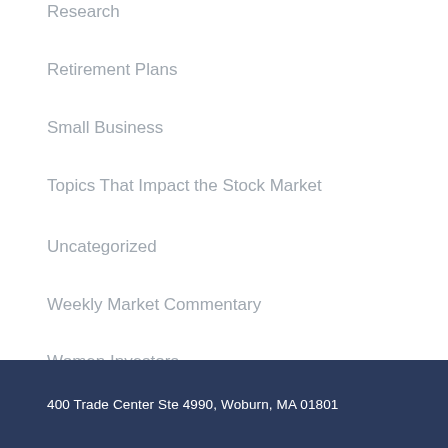Research
Retirement Plans
Small Business
Topics That Impact the Stock Market
Uncategorized
Weekly Market Commentary
Women Investors
400 Trade Center Ste 4990, Woburn, MA 01801